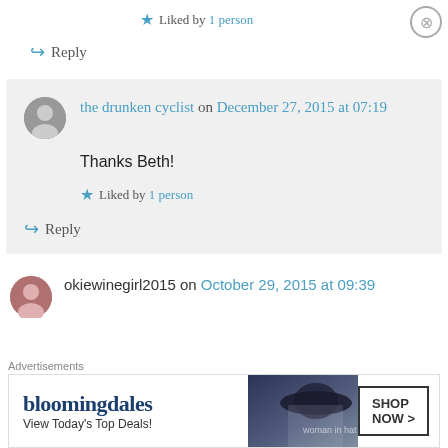★ Liked by 1 person
↪ Reply
the drunken cyclist on December 27, 2015 at 07:19
Thanks Beth!
★ Liked by 1 person
↪ Reply
okiewinegirl2015 on October 29, 2015 at 09:39
[Figure (infographic): Bloomingdale's advertisement banner: 'View Today's Top Deals!' with SHOP NOW button and woman in hat image]